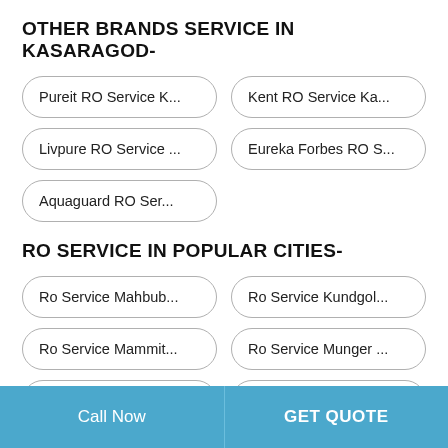OTHER BRANDS SERVICE IN KASARAGOD-
Pureit RO Service K...
Kent RO Service Ka...
Livpure RO Service ...
Eureka Forbes RO S...
Aquaguard RO Ser...
RO SERVICE IN POPULAR CITIES-
Ro Service Mahbub...
Ro Service Kundgol...
Ro Service Mammit...
Ro Service Munger ...
Ro Service Kanker →
Ro Service Mahabu...
Ro Service Kendujh...
Ro Service Khargo...
Call Now | GET QUOTE